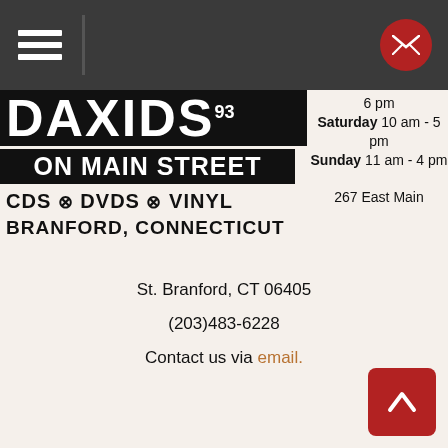Navigation bar with hamburger menu and mail button
DAXIDS93 ON MAIN STREET CDS ⊗ DVDS ⊗ VINYL BRANFORD, CONNECTICUT
6 pm
Saturday 10 am - 5 pm
Sunday 11 am - 4 pm
267 East Main St. Branford, CT 06405
(203)483-6228
Contact us via email.